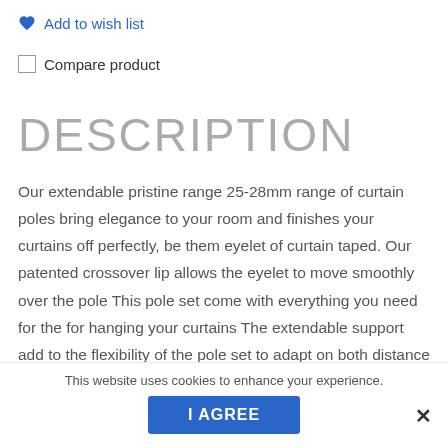Add to wish list
Compare product
DESCRIPTION
Our extendable pristine range 25-28mm range of curtain poles bring elegance to your room and finishes your curtains off perfectly, be them eyelet of curtain taped. Our patented crossover lip allows the eyelet to move smoothly over the pole This pole set come with everything you need for the for hanging your curtains The extendable support add to the flexibility of the pole set to adapt on both distance from the wall and length of the pole. The cage finial brings a timeless
This website uses cookies to enhance your experience.